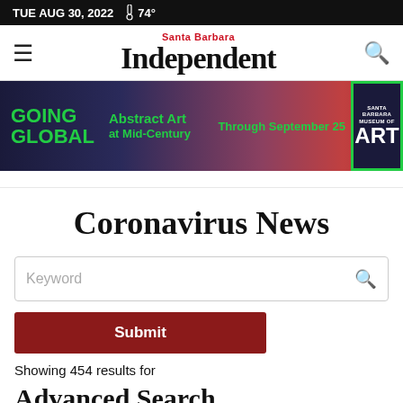TUE AUG 30, 2022  74°
Santa Barbara Independent
[Figure (illustration): Advertisement banner for 'Going Global: Abstract Art at Mid-Century' at Santa Barbara Museum of Art, Through September 25]
Coronavirus News
Keyword [search box]
Submit
Showing 454 results for
Advanced Search